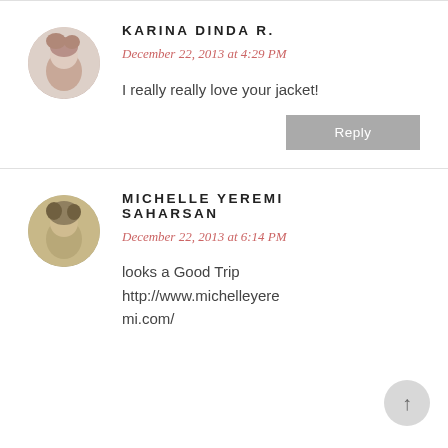KARINA DINDA R.
December 22, 2013 at 4:29 PM
I really really love your jacket!
Reply
MICHELLE YEREMI SAHARSAN
December 22, 2013 at 6:14 PM
looks a Good Trip
http://www.michelleyeremi.com/